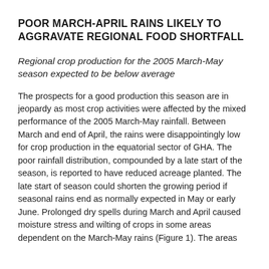POOR MARCH-APRIL RAINS LIKELY TO AGGRAVATE REGIONAL FOOD SHORTFALL
Regional crop production for the 2005 March-May season expected to be below average
The prospects for a good production this season are in jeopardy as most crop activities were affected by the mixed performance of the 2005 March-May rainfall. Between March and end of April, the rains were disappointingly low for crop production in the equatorial sector of GHA. The poor rainfall distribution, compounded by a late start of the season, is reported to have reduced acreage planted. The late start of season could shorten the growing period if seasonal rains end as normally expected in May or early June. Prolonged dry spells during March and April caused moisture stress and wilting of crops in some areas dependent on the March-May rains (Figure 1). The areas